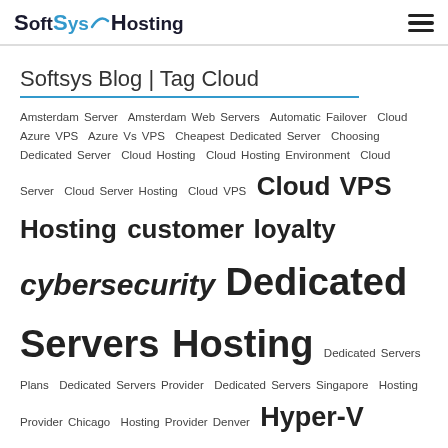SoftSys Hosting
Softsys Blog | Tag Cloud
Amsterdam Server  Amsterdam Web Servers  Automatic Failover  Cloud  Azure VPS  Azure Vs VPS  Cheapest Dedicated Server  Choosing Dedicated Server  Cloud Hosting  Cloud Hosting Environment  Cloud Server  Cloud Server Hosting  Cloud VPS  Cloud VPS Hosting  customer loyalty  cybersecurity  Dedicated Servers Hosting  Dedicated Servers Plans  Dedicated Servers Provider  Dedicated Servers Singapore  Hosting Provider Chicago  Hosting Provider Denver  Hyper-V VPS  Linux Cloud  Linux VPS  online business  online